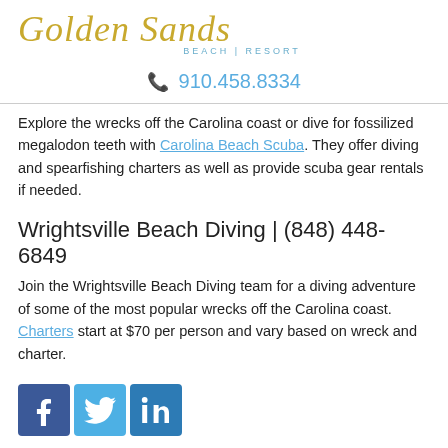[Figure (logo): Golden Sands Beach Resort logo with gold cursive text and blue subtitle]
910.458.8334
Explore the wrecks off the Carolina coast or dive for fossilized megalodon teeth with Carolina Beach Scuba. They offer diving and spearfishing charters as well as provide scuba gear rentals if needed.
Wrightsville Beach Diving | (848) 448-6849
Join the Wrightsville Beach Diving team for a diving adventure of some of the most popular wrecks off the Carolina coast. Charters start at $70 per person and vary based on wreck and charter.
[Figure (infographic): Social media icons for Facebook, Twitter, and LinkedIn]